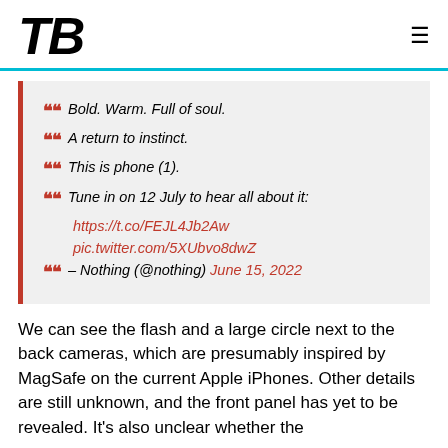TB
[Figure (other): Blockquote with red quotation marks on a grey background with red left border, containing tweet text: Bold. Warm. Full of soul. / A return to instinct. / This is phone (1). / Tune in on 12 July to hear all about it: https://t.co/FEJL4Jb2Aw pic.twitter.com/5XUbvo8dwZ / – Nothing (@nothing) June 15, 2022]
We can see the flash and a large circle next to the back cameras, which are presumably inspired by MagSafe on the current Apple iPhones. Other details are still unknown, and the front panel has yet to be revealed. It's also unclear whether the